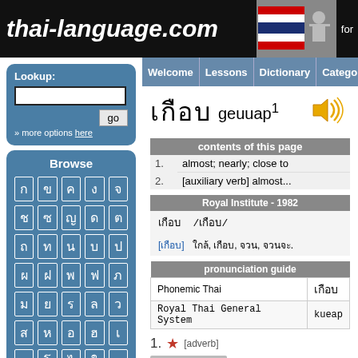thai-language.com
Welcome | Lessons | Dictionary | Categories | Ref
Lookup:
» more options here
Browse
เกือบ geuuap¹
| contents of this page |
| --- |
| 1. | almost; nearly; close to |
| 2. | [auxiliary verb] almost... |
| Royal Institute - 1982 |
| --- |
| เกือบ /เกือบ/ |
| [เกือบ] ใกล้, เกือบ, จวน, จวนจะ. |
| pronunciation guide |
| --- |
| Phonemic Thai | เกือบ |
| Royal Thai General System | kueap |
1. ★ [adverb]